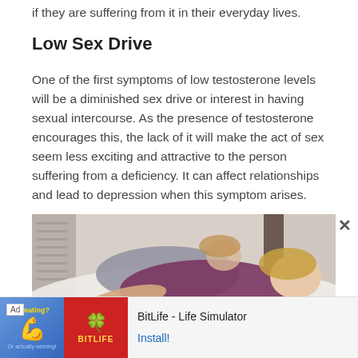if they are suffering from it in their everyday lives.
Low Sex Drive
One of the first symptoms of low testosterone levels will be a diminished sex drive or interest in having sexual intercourse. As the presence of testosterone encourages this, the lack of it will make the act of sex seem less exciting and attractive to the person suffering from a deficiency. It can affect relationships and lead to depression when this symptom arises.
[Figure (photo): A couple lying in bed, one person facing away, illustrating low sex drive or relationship distance]
[Figure (screenshot): Advertisement banner for BitLife - Life Simulator app with an 'Install!' call to action]